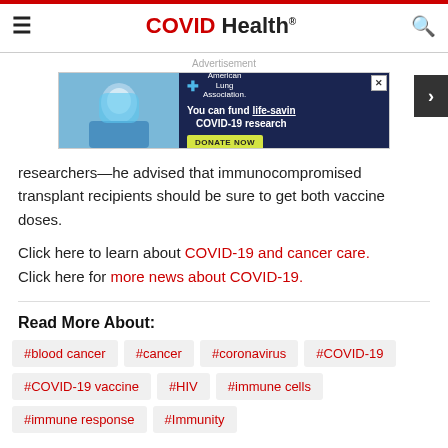COVID Health
[Figure (screenshot): American Lung Association advertisement banner: You can fund life-saving COVID-19 research. DONATE NOW.]
researchers—he advised that immunocompromised transplant recipients should be sure to get both vaccine doses.
Click here to learn about COVID-19 and cancer care. Click here for more news about COVID-19.
Read More About:
#blood cancer
#cancer
#coronavirus
#COVID-19
#COVID-19 vaccine
#HIV
#immune cells
#immune response
#Immunity